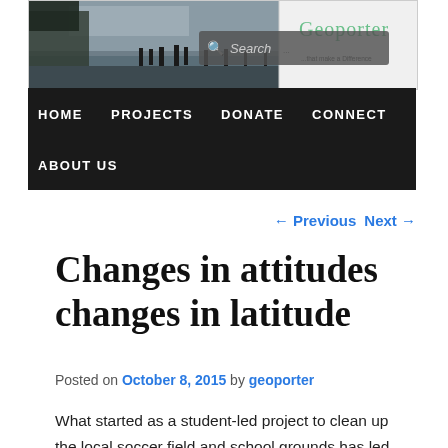[Figure (photo): Website header banner showing beach scene with silhouetted people walking on wet sand, overcast sky, with Geoporter logo and search box overlay]
HOME   PROJECTS   DONATE   CONNECT   ABOUT US
← Previous   Next →
Changes in attitudes changes in latitude
Posted on October 8, 2015 by geoporter
What started as a student-led project to clean up the local soccer field and school grounds has led to a community wide effort in Bahia Ballena to keep the city clean. Local